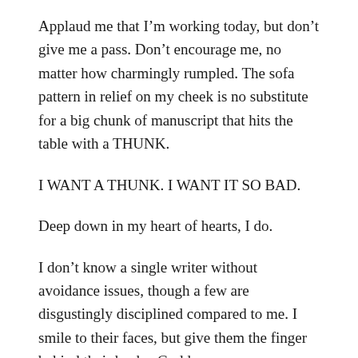Applaud me that I’m working today, but don’t give me a pass. Don’t encourage me, no matter how charmingly rumpled. The sofa pattern in relief on my cheek is no substitute for a big chunk of manuscript that hits the table with a THUNK.
I WANT A THUNK. I WANT IT SO BAD.
Deep down in my heart of hearts, I do.
I don’t know a single writer without avoidance issues, though a few are disgustingly disciplined compared to me. I smile to their faces, but give them the finger behind their backs. Goddamn you.
I’m petty. It’s a failing. But I’m not alone. One time I was having a writing class and a writer was sitting...